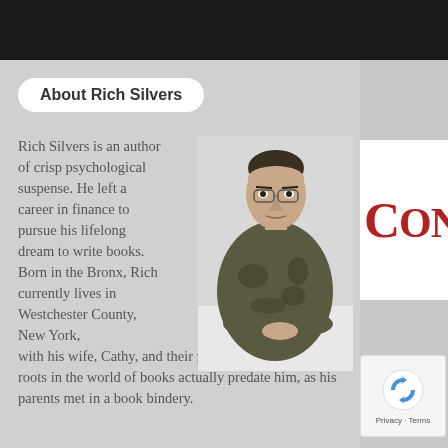About Rich Silvers
Rich Silvers is an author of crisp psychological suspense. He left a career in finance to pursue his lifelong dream to write books. Born in the Bronx, Rich currently lives in Westchester County, New York, with his wife, Cathy, and their pet parrot, DJ. Rich's roots in the world of books actually predate him, as his parents met in a book bindery.
[Figure (photo): Portrait photo of Rich Silvers, a man in a camouflage jacket, lying with arms folded on a surface, looking directly at the camera]
[Figure (logo): Partial red serif text reading 'CONU' (part of a logo, likely 'CONUNDRUM' or similar)]
[Figure (other): reCAPTCHA widget with spinning arrows icon and Privacy/Terms links below]